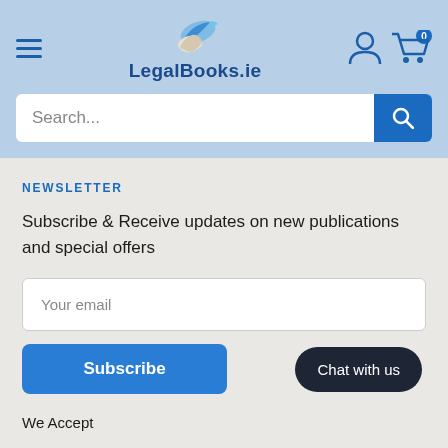[Figure (logo): LegalBooks.ie logo with blue feather/scroll bird icon and bold blue text 'LegalBooks.ie']
Search...
NEWSLETTER
Subscribe & Receive updates on new publications and special offers
Your email
Subscribe
Chat with us
We Accept